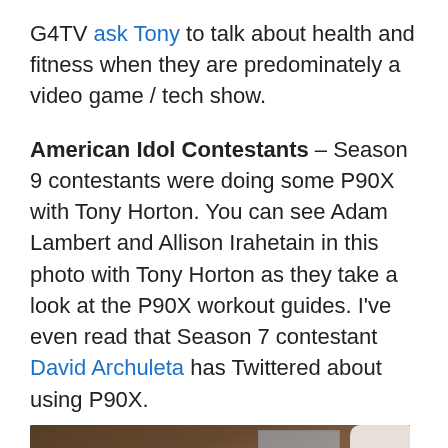G4TV ask Tony to talk about health and fitness when they are predominately a video game / tech show.
American Idol Contestants – Season 9 contestants were doing some P90X with Tony Horton. You can see Adam Lambert and Allison Irahetain in this photo with Tony Horton as they take a look at the P90X workout guides. I've even read that Season 7 contestant David Archuleta has Twittered about using P90X.
[Figure (photo): Photo showing people including Adam Lambert and Allison Irahetain with Tony Horton looking at P90X workout guides]